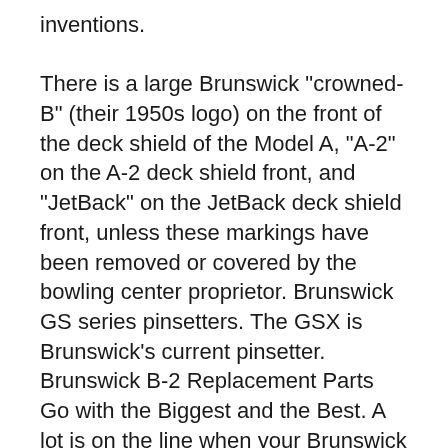inventions.

There is a large Brunswick "crowned-B" (their 1950s logo) on the front of the deck shield of the Model A, "A-2" on the A-2 deck shield front, and "JetBack" on the JetBack deck shield front, unless these markings have been removed or covered by the bowling center proprietor. Brunswick GS series pinsetters. The GSX is Brunswick's current pinsetter. Brunswick B-2 Replacement Parts Go with the Biggest and the Best. A lot is on the line when your Brunswick A/A-2 style pinspotters need attention. Bowler satisfaction. Your Profitability. Your Reputation. That's why you should insist on QubicaAME for